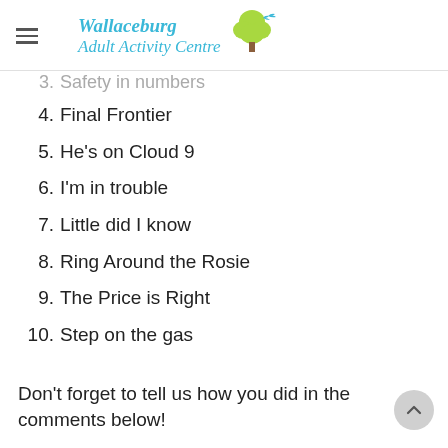Wallaceburg Adult Activity Centre
3. Safety in numbers
4. Final Frontier
5. He's on Cloud 9
6. I'm in trouble
7. Little did I know
8. Ring Around the Rosie
9. The Price is Right
10. Step on the gas
Don't forget to tell us how you did in the comments below!